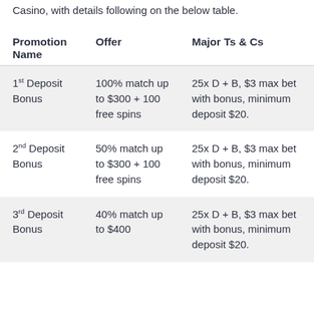Casino, with details following on the below table.
| Promotion Name | Offer | Major Ts & Cs |
| --- | --- | --- |
| 1st Deposit Bonus | 100% match up to $300 + 100 free spins | 25x D + B, $3 max bet with bonus, minimum deposit $20. |
| 2nd Deposit Bonus | 50% match up to $300 + 100 free spins | 25x D + B, $3 max bet with bonus, minimum deposit $20. |
| 3rd Deposit Bonus | 40% match up to $400 | 25x D + B, $3 max bet with bonus, minimum deposit $20. |